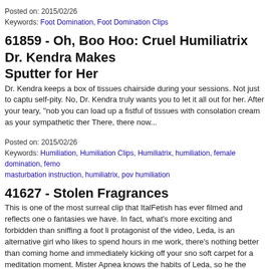Posted on: 2015/02/26
Keywords: Foot Domination, Foot Domination Clips
61859 - Oh, Boo Hoo: Cruel Humiliatrix Dr. Kendra Makes Sputter for Her
Dr. Kendra keeps a box of tissues chairside during your sessions. Not just to capture self-pity. No, Dr. Kendra truly wants you to let it all out for her. After your teary, "nob you can load up a fistful of tissues with consolation cream as your sympathetic ther There, there now...
Posted on: 2015/02/26
Keywords: Humiliation, Humiliation Clips, Humiliatrix, humiliation, female domination, femo masturbation instruction, humiliatrix, pov humiliation
41627 - Stolen Fragrances
This is one of the most surreal clip that ItalFetish has ever filmed and reflects one o fantasies we have. In fact, what's more exciting and forbidden than sniffing a foot li protagonist of the video, Leda, is an alternative girl who likes to spend hours in me work, there's nothing better than coming home and immediately kicking off your sno soft carpet for a meditation moment. Mister Apnea knows the habits of Leda, so he the yoga room and seizes the moment to approach his target: Leda's stinky sneake sweaty and dirty soles. It will be one of the most memorable and satisfying feet snif career!
Posted on: 2015/02/26
Keywords: Foot Domination, Foot Domination Clips, ItalFetish
69435 - Snobby Models Use Their slave During a Photo Sh